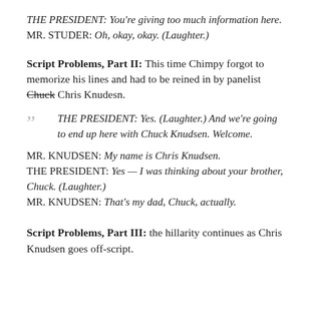THE PRESIDENT: You're giving too much information here.
MR. STUDER: Oh, okay, okay. (Laughter.)
Script Problems, Part II: This time Chimpy forgot to memorize his lines and had to be reined in by panelist Chuck Chris Knudesn.
THE PRESIDENT: Yes. (Laughter.) And we're going to end up here with Chuck Knudsen. Welcome.
MR. KNUDSEN: My name is Chris Knudsen.
THE PRESIDENT: Yes — I was thinking about your brother, Chuck. (Laughter.)
MR. KNUDSEN: That's my dad, Chuck, actually.
Script Problems, Part III: the hillarity continues as Chris Knudsen goes off-script.